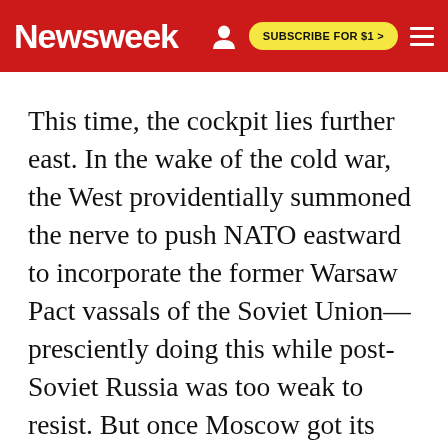Newsweek | SUBSCRIBE FOR $1 >
This time, the cockpit lies further east. In the wake of the cold war, the West providentially summoned the nerve to push NATO eastward to incorporate the former Warsaw Pact vassals of the Soviet Union—presciently doing this while post-Soviet Russia was too weak to resist. But once Moscow got its breath back, anyone with historical wit could foresee a revived Russian push for influence in central Europe. Moscow...against this NATO...